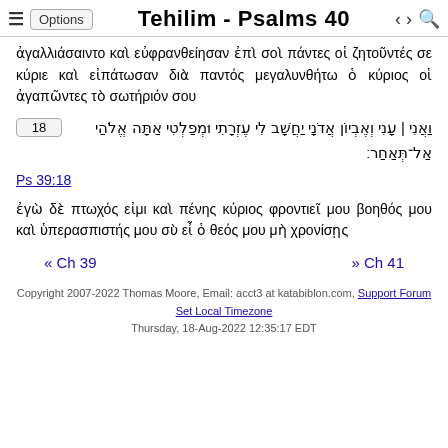≡ Options Tehilim - Psalms 40 < > 🔍
ἀγαλλιάσαιντο καὶ εὐφρανθείησαν ἐπὶ σοὶ πάντες οἱ ζητοῦντές σε κύριε καὶ εἰπάτωσαν διὰ παντός μεγαλυνθήτω ὁ κύριος οἱ ἀγαπῶντες τὸ σωτήριόν σου
18 וַאֲנִי | עָנִי וְאֶבְיוֹן אֲדֹנָי יַחֲשָׁב לִי עֶזְרָתִי וּמְפַלְטִי אַתָּה אֱלֹהַי אַל־תְּאַחַר׃
Ps 39:18
ἐγὼ δὲ πτωχός εἰμι καὶ πένης κύριος φροντιεῖ μου βοηθός μου καὶ ὑπερασπιστής μου σὺ εἶ ὁ θεός μου μὴ χρονίσῃς
« Ch 39   » Ch 41
Copyright 2007-2022 Thomas Moore, Email: acct3 at katabiblon.com, Support Forum Set Local Timezone
Thursday, 18-Aug-2022 12:35:17 EDT